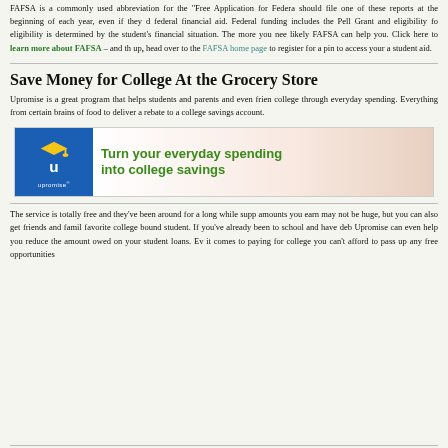FAFSA is a commonly used abbreviation for the "Free Application for Federal student aid. should file one of these reports at the beginning of each year, even if they do not expect federal financial aid. Federal funding includes the Pell Grant and eligibility for loans. eligibility is determined by the student's financial situation. The more you need, the more likely FAFSA can help you. Click here to learn more about FAFSA – and then once you sign up, head over to the FAFSA home page to register for a pin to access your account and student aid.
Save Money for College At the Grocery Store
Upromise is a great program that helps students and parents and even friends save for college through everyday spending. Everything from certain brains of food to deliver a rebate to a college savings account.
[Figure (infographic): Upromise advertisement banner: blue logo on left with 'U' and graduation cap and 'upromise' text, right side says 'Turn your everyday spending into college savings' in green bold text on light background with produce image]
The service is totally free and they've been around for a long while. The amounts you earn may not be huge, but you can also get friends and family to shop for your favorite college bound student. If you've already been to school and have debt to pay back, Upromise can even help you reduce the amount owed on your student loans. When it comes to paying for college you can't afford to pass up any free opportunities